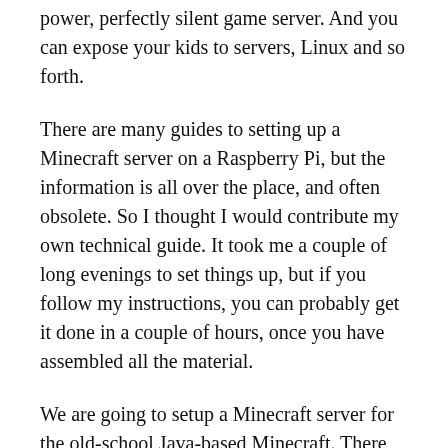power, perfectly silent game server. And you can expose your kids to servers, Linux and so forth.
There are many guides to setting up a Minecraft server on a Raspberry Pi, but the information is all over the place, and often obsolete. So I thought I would contribute my own technical guide. It took me a couple of long evenings to set things up, but if you follow my instructions, you can probably get it done in a couple of hours, once you have assembled all the material.
We are going to setup a Minecraft server for the old-school Java-based Minecraft. There are other Minecraft versions (e.g., on mobile devices) but they require different software. To be clear: if you are running Minecraft on a smartphone, a console or a tablet, it is may not compatible with the regular (Java) Minecraft. You can use Geyser to support